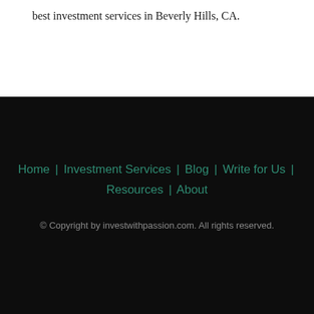best investment services in Beverly Hills, CA.
Home | Investment Services | Blog | Write for Us | Resources | About
© Copyright by investwithpassion.com. All rights reserved.